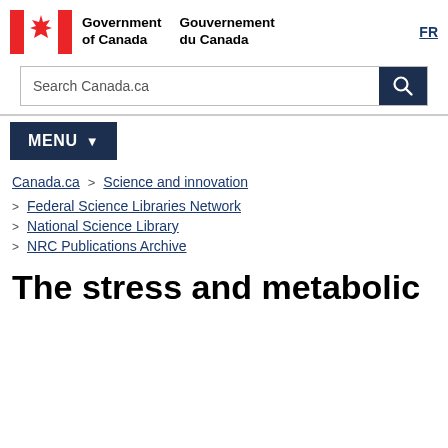Government of Canada / Gouvernement du Canada | FR
Search Canada.ca
MENU
Canada.ca > Science and innovation > Federal Science Libraries Network > National Science Library > NRC Publications Archive
The stress and metabolic